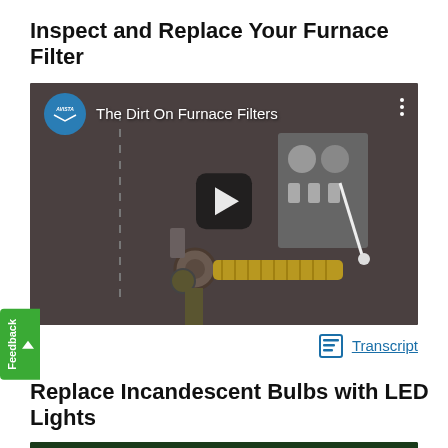Inspect and Replace Your Furnace Filter
[Figure (screenshot): YouTube-style video thumbnail for 'The Dirt On Furnace Filters' by Avista, showing furnace pipe components with a play button overlay.]
Transcript
Replace Incandescent Bulbs with LED Lights
[Figure (screenshot): Partial YouTube-style video thumbnail for a second Avista video about replacing incandescent bulbs with LED lights.]